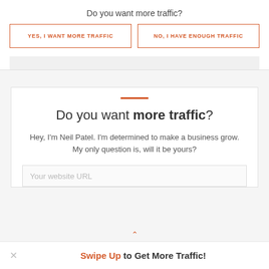Do you want more traffic?
YES, I WANT MORE TRAFFIC
NO, I HAVE ENOUGH TRAFFIC
Do you want more traffic?
Hey, I'm Neil Patel. I'm determined to make a business grow. My only question is, will it be yours?
Your website URL
Swipe Up to Get More Traffic!